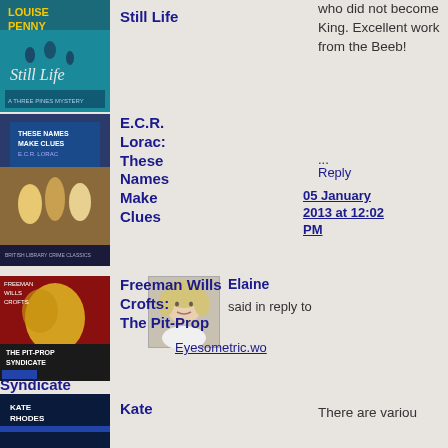[Figure (illustration): Book cover: Louise Penny - Still Life, teal/blue cover]
Still Life
[Figure (illustration): Book cover: E.C.R. Lorac - These Names Make Clues, ballroom scene]
E.C.R. Lorac: These Names Make Clues
who did not become King. Excellent work from the Beeb!
...
Reply
05 January 2013 at 12:02 PM
[Figure (photo): Profile photo of Elaine, blonde woman]
Elaine
said in reply to
Eyesometric.wo
[Figure (illustration): Book cover: Freeman Wills Crofts - The Pit-Prop Syndicate]
Freeman Wills Crofts: The Pit-Prop Syndicate
There are variou
[Figure (illustration): Book cover: Kate Rhodes, dark blue cover]
Kate